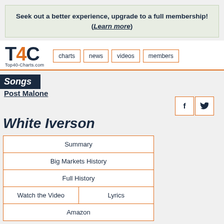Seek out a better experience, upgrade to a full membership! (Learn more)
Top40-Charts.com — charts, news, videos, members
Songs
Post Malone
White Iverson
| Summary |
| Big Markets History |
| Full History |
| Watch the Video | Lyrics |
| Amazon |
Total weeks on charts: 31